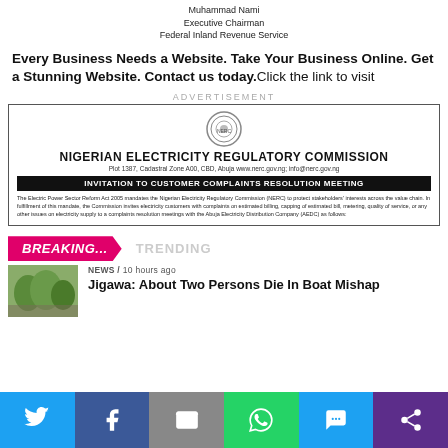Muhammad Nami
Executive Chairman
Federal Inland Revenue Service
Every Business Needs a Website. Take Your Business Online. Get a Stunning Website. Contact us today. Click the link to visit
ADVERTISEMENT
[Figure (infographic): Nigerian Electricity Regulatory Commission official notice box with logo, address, banner heading 'INVITATION TO CUSTOMER COMPLAINTS RESOLUTION MEETING', and body text about Electric Power Sector Reform Act 2005 and AEDC complaints resolution meetings.]
BREAKING... TRENDING
NEWS / 10 hours ago
Jigawa: About Two Persons Die In Boat Mishap